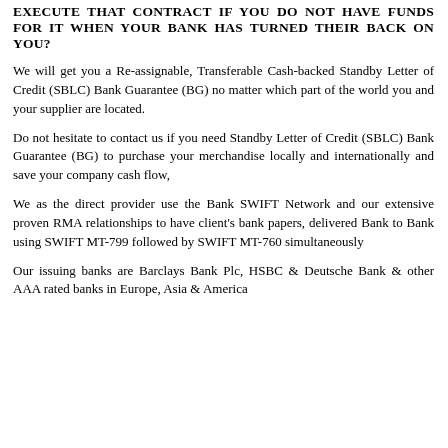EXECUTE THAT CONTRACT IF YOU DO NOT HAVE FUNDS FOR IT WHEN YOUR BANK HAS TURNED THEIR BACK ON YOU?
We will get you a Re-assignable, Transferable Cash-backed Standby Letter of Credit (SBLC) Bank Guarantee (BG) no matter which part of the world you and your supplier are located.
Do not hesitate to contact us if you need Standby Letter of Credit (SBLC) Bank Guarantee (BG) to purchase your merchandise locally and internationally and save your company cash flow,
We as the direct provider use the Bank SWIFT Network and our extensive proven RMA relationships to have client's bank papers, delivered Bank to Bank using SWIFT MT-799 followed by SWIFT MT-760 simultaneously
Our issuing banks are Barclays Bank Plc, HSBC & Deutsche Bank & other AAA rated banks in Europe, Asia & America